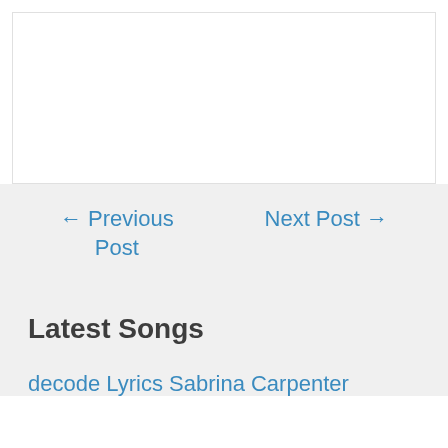← Previous Post
Next Post →
Latest Songs
decode Lyrics Sabrina Carpenter